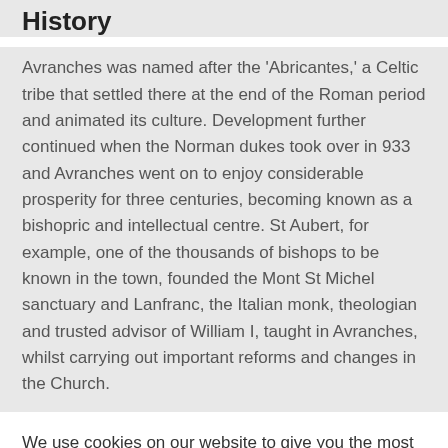History
Avranches was named after the 'Abricantes,' a Celtic tribe that settled there at the end of the Roman period and animated its culture. Development further continued when the Norman dukes took over in 933 and Avranches went on to enjoy considerable prosperity for three centuries, becoming known as a bishopric and intellectual centre. St Aubert, for example, one of the thousands of bishops to be known in the town, founded the Mont St Michel sanctuary and Lanfranc, the Italian monk, theologian and trusted advisor of William I, taught in Avranches, whilst carrying out important reforms and changes in the Church.
We use cookies on our website to give you the most relevant experience by remembering your preferences and repeat visits. By clicking “Accept”, you consent to the use of ALL the cookies.
Cookie settings
ACCEPT